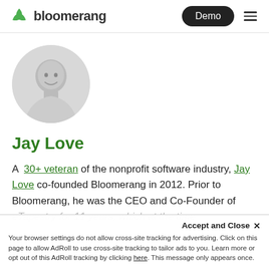bloomerang | Demo
[Figure (photo): Black and white circular headshot photo of Jay Love, a middle-aged man smiling, wearing a collared shirt]
Jay Love
A 30+ veteran of the nonprofit software industry, Jay Love co-founded Bloomerang in 2012. Prior to Bloomerang, he was the CEO and Co-Founder of eTapestry for 11 years, which at the time...
Accept and Close ×
Your browser settings do not allow cross-site tracking for advertising. Click on this page to allow AdRoll to use cross-site tracking to tailor ads to you. Learn more or opt out of this AdRoll tracking by clicking here. This message only appears once.